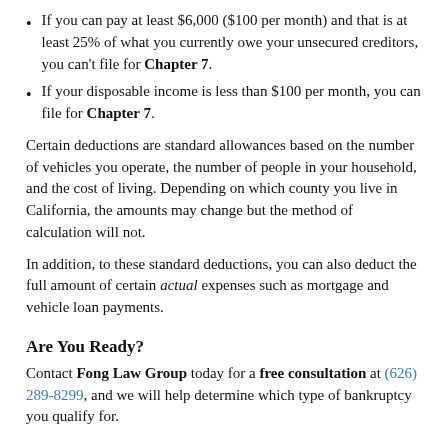If you can pay at least $6,000 ($100 per month) and that is at least 25% of what you currently owe your unsecured creditors, you can't file for Chapter 7.
If your disposable income is less than $100 per month, you can file for Chapter 7.
Certain deductions are standard allowances based on the number of vehicles you operate, the number of people in your household, and the cost of living. Depending on which county you live in California, the amounts may change but the method of calculation will not.
In addition, to these standard deductions, you can also deduct the full amount of certain actual expenses such as mortgage and vehicle loan payments.
Are You Ready?
Contact Fong Law Group today for a free consultation at (626) 289-8299, and we will help determine which type of bankruptcy you qualify for.
Posted by Fong Law Group on 05/05/2021 at 07:40 AM in Bankruptcy, Creditors, Deductions, Income, Mortage | Permalink | Comments (0)